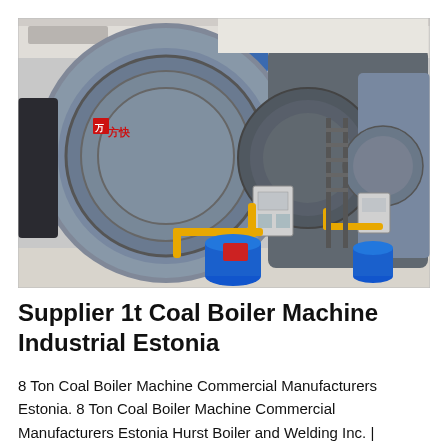[Figure (photo): Industrial boiler machines in a factory setting. Multiple large cylindrical boilers are shown, primarily blue/grey colored with Chinese characters and branding on the front face. Yellow gas pipes, red pipes, and blue drum containers are visible at the bases. The machines are arranged in a row inside a well-lit industrial facility.]
Supplier 1t Coal Boiler Machine Industrial Estonia
8 Ton Coal Boiler Machine Commercial Manufacturers Estonia. 8 Ton Coal Boiler Machine Commercial Manufacturers Estonia Hurst Boiler and Welding Inc. |